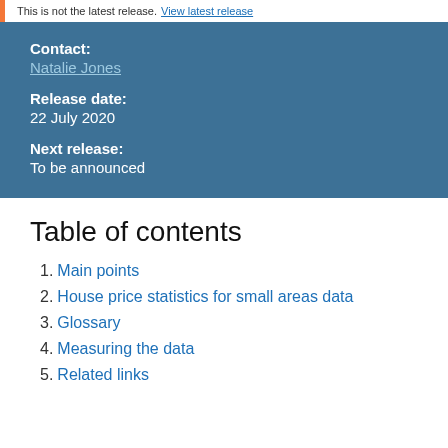This is not the latest release. View latest release
Contact:
Natalie Jones
Release date:
22 July 2020
Next release:
To be announced
Table of contents
1. Main points
2. House price statistics for small areas data
3. Glossary
4. Measuring the data
5. Related links